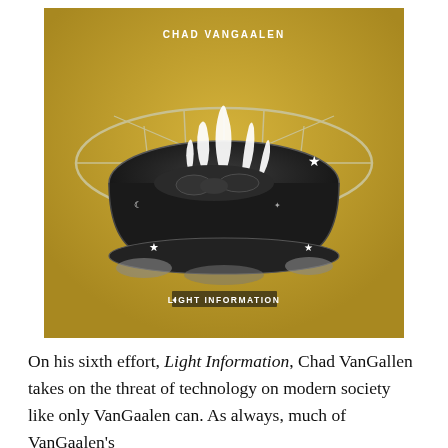[Figure (illustration): Album cover for 'Light Information' by Chad VanGaalen. Gold/yellow background with a detailed black-and-white illustration of a circular fire pit or cauldron with flames rising from it, surrounded by a metal frame/cage. Stars and a crescent moon decorate the base. The text 'CHAD VANGAALEN' appears at the top and 'LIGHT INFORMATION' at the bottom of the cover.]
On his sixth effort, Light Information, Chad VanGallen takes on the threat of technology on modern society like only VanGaalen can. As always, much of VanGaalen's